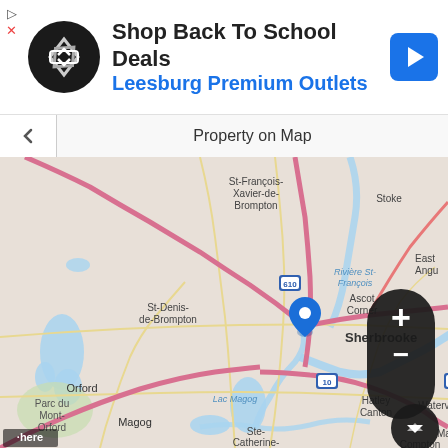[Figure (other): Advertisement banner: circular black logo with overlapping diamond shapes, heading 'Shop Back To School Deals', subtitle 'Leesburg Premium Outlets', blue navigation icon on right, small triangle and X icons top-left]
Property on Map
[Figure (map): Geographic map centered on Sherbrooke, Quebec, Canada. Shows surrounding towns: St-François-Xavier-de-Brompton, St-Denis-de-Brompton, Stoke, East Angus, Ascot Corner, Rivière St-François, Parc du Mont-Orford, Orford, Lac Magog, Hatley Canton, Waterville, Martin, Magog, Ste-Catherine-de-Hatley, Compton. Roads including highways 610 and 410 marked in pink/red. Blue map pin marker on Sherbrooke. HERE watermark bottom-left. Scale bar showing 10 km. Zoom in/out controls top-right. Layer switcher button bottom-right.]